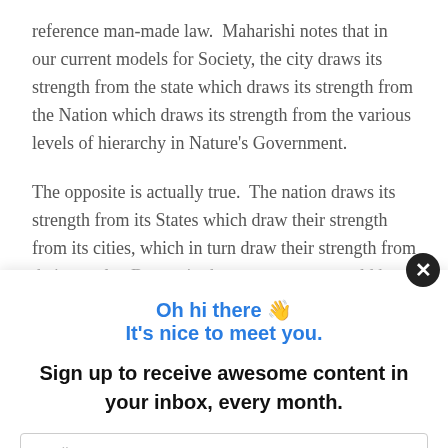reference man-made law.  Maharishi notes that in our current models for Society, the city draws its strength from the state which draws its strength from the Nation which draws its strength from the various levels of hierarchy in Nature's Government.
The opposite is actually true.  The nation draws its strength from its States which draw their strength from its cities, which in turn draw their strength from their people.  But again the governments would have…
Oh hi there 👋
It's nice to meet you.
Sign up to receive awesome content in your inbox, every month.